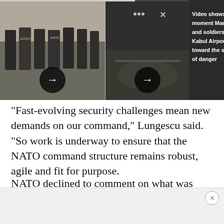[Figure (photo): Two-panel media carousel: left panel shows soldiers in Army shirts running, right panel shows a dark night-vision or surveillance video still. Both panels have right-arrow navigation buttons. A dark panel on the right shows a video headline.]
“Fast-evolving security challenges mean new demands on our command,” Lungescu said. “So work is underway to ensure that the NATO command structure remains robust, agile and fit for purpose.
NATO declined to comment on what was detailed in the Der Spiegel report, which outlined specific